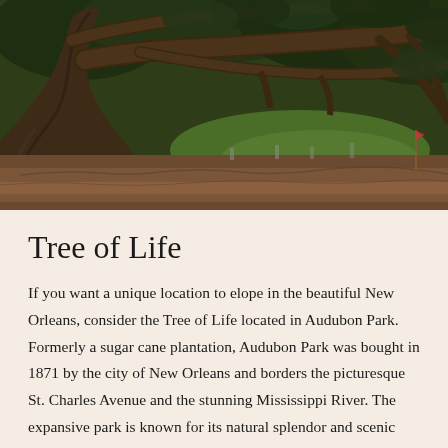[Figure (photo): Photograph of a large, ancient oak tree with wide-spreading branches in what appears to be Audubon Park. The tree has a massive gnarled trunk and sprawling horizontal limbs. The ground beneath is covered in reddish-brown mulch/dirt. Green grass and other trees are visible in the background.]
Tree of Life
If you want a unique location to elope in the beautiful New Orleans, consider the Tree of Life located in Audubon Park. Formerly a sugar cane plantation, Audubon Park was bought in 1871 by the city of New Orleans and borders the picturesque St. Charles Avenue and the stunning Mississippi River. The expansive park is known for its natural splendor and scenic qualities and is home to an impressive